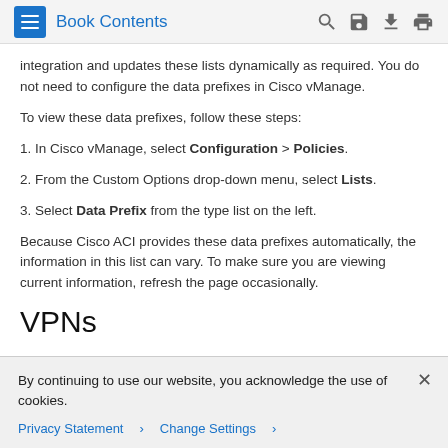Book Contents
integration and updates these lists dynamically as required. You do not need to configure the data prefixes in Cisco vManage.
To view these data prefixes, follow these steps:
1. In Cisco vManage, select Configuration > Policies.
2. From the Custom Options drop-down menu, select Lists.
3. Select Data Prefix from the type list on the left.
Because Cisco ACI provides these data prefixes automatically, the information in this list can vary. To make sure you are viewing current information, refresh the page occasionally.
VPNs
By continuing to use our website, you acknowledge the use of cookies.
Privacy Statement > Change Settings >